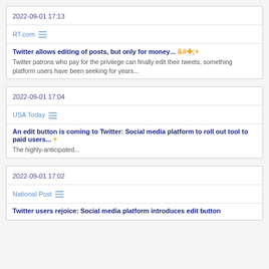2022-09-01 17:13
RT.com
Twitter allows editing of posts, but only for money... +
Twitter patrons who pay for the privilege can finally edit their tweets, something platform users have been seeking for years...
2022-09-01 17:04
USA Today
An edit button is coming to Twitter: Social media platform to roll out tool to paid users... +
The highly-anticipated...
2022-09-01 17:02
National Post
Twitter users rejoice: Social media platform introduces edit button